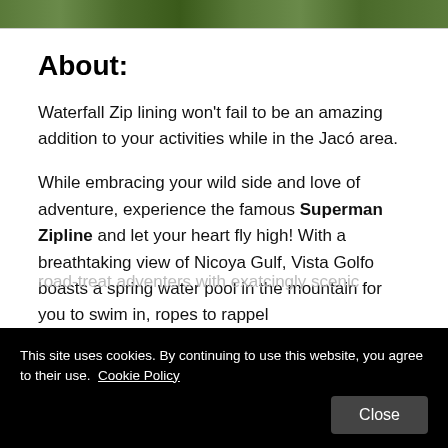[Figure (photo): Horizontal strip of thumbnail photos at the top of the page showing green outdoor/nature scenes]
About:
Waterfall Zip lining won't fail to be an amazing addition to your activities while in the Jacó area.
While embracing your wild side and love of adventure, experience the famous Superman Zipline and let your heart fly high! With a breathtaking view of Nicoya Gulf, Vista Golfo boasts a spring water pool in the mountain for you to swim in, ropes to rappel
This site uses cookies. By continuing to use this website, you agree to their use.  Cookie Policy
road-treat adventers with exacting scenic